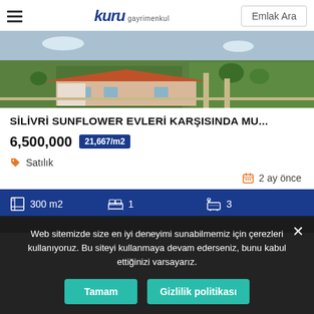kuru gayrimenkul | Emlak Ara
[Figure (photo): Aerial view of a property with a house, garden, and surrounding green land in Silivri]
SİLİVRİ SUNFLOWER EVLERİ KARŞISINDA MU...
6,500,000   21,667/m2
Satılık
2 ay önce
300 m2   1   3
Web sitemizde size en iyi deneyimi sunabilmemiz için çerezleri kullanıyoruz. Bu siteyi kullanmaya devam ederseniz, bunu kabul ettiğinizi varsayarız.
Tamam   Gizlilik politikası